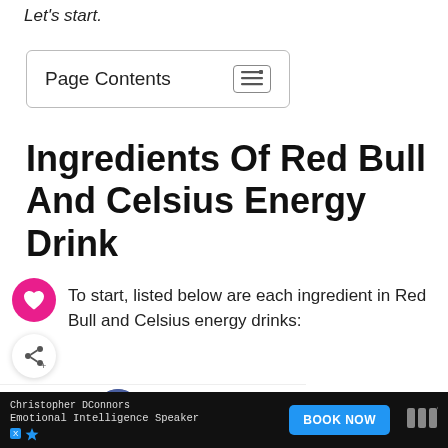Let's start.
Page Contents
Ingredients Of Red Bull And Celsius Energy Drink
To start, listed below are each ingredient in Red Bull and Celsius energy drinks:
' Energy Drink
Carbonated Water
[Figure (infographic): What's Next bar with Red Bull Energy Drink thumbnail, pink like button, and share button overlaid on content]
Christopher DConnors · Emotional Intelligence Speaker · BOOK NOW ad